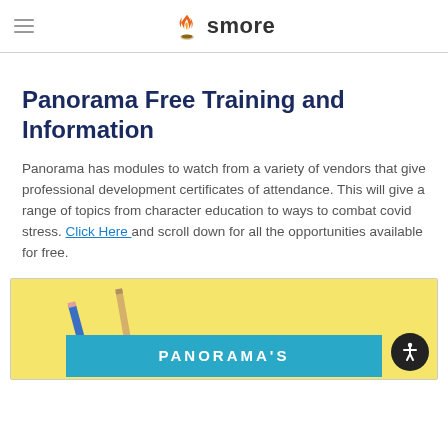smore
Panorama Free Training and Information
Panorama has modules to watch from a variety of vendors that give professional development certificates of attendance. This will give a range of topics from character education to ways to combat covid stress. Click Here and scroll down for all the opportunities available for free.
[Figure (photo): Photo of pencils on a yellow background with a blue banner reading PANORAMA'S at the bottom]